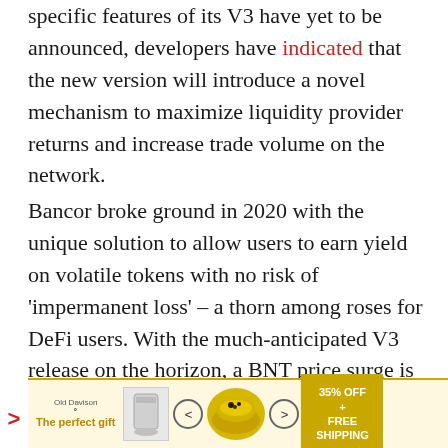specific features of its V3 have yet to be announced, developers have indicated that the new version will introduce a novel mechanism to maximize liquidity provider returns and increase trade volume on the network.
Bancor broke ground in 2020 with the unique solution to allow users to earn yield on volatile tokens with no risk of 'impermanent loss' – a thorn among roses for DeFi users. With the much-anticipated V3 release on the horizon, a BNT price surge is not out of the question.
[Figure (other): Advertisement banner: 'The perfect gift' promotion with food/bowl imagery, navigation arrows, and '35% OFF + FREE SHIPPING' offer label]